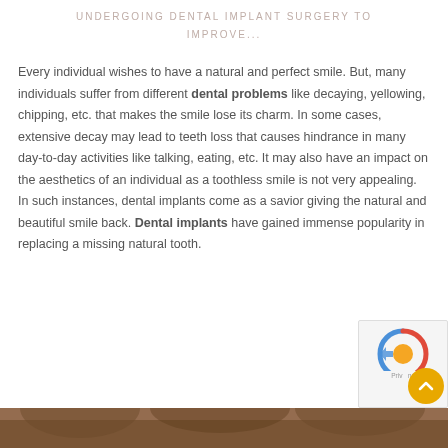UNDERGOING DENTAL IMPLANT SURGERY TO IMPROVE...
Every individual wishes to have a natural and perfect smile. But, many individuals suffer from different dental problems like decaying, yellowing, chipping, etc. that makes the smile lose its charm. In some cases, extensive decay may lead to teeth loss that causes hindrance in many day-to-day activities like talking, eating, etc. It may also have an impact on the aesthetics of an individual as a toothless smile is not very appealing. In such instances, dental implants come as a savior giving the natural and beautiful smile back. Dental implants have gained immense popularity in replacing a missing natural tooth.
[Figure (photo): Bottom portion of a photo showing a person with hair visible, partial image cut off at bottom of page.]